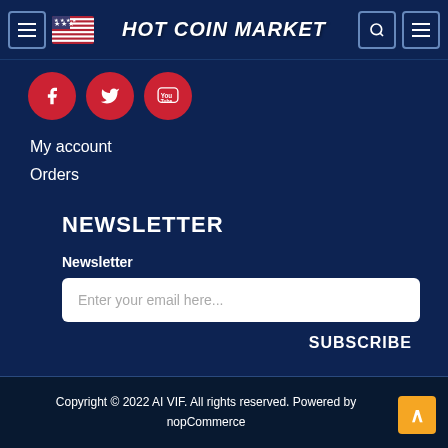HOT COIN MARKET
[Figure (logo): Social media icons: Facebook, Twitter, YouTube - red circles with white icons]
My account
Orders
NEWSLETTER
Newsletter
Enter your email here...
SUBSCRIBE
Copyright © 2022 AI VIF. All rights reserved. Powered by nopCommerce